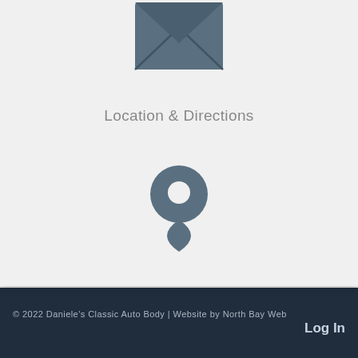[Figure (illustration): Envelope icon in dark slate blue/grey color, shown from front with X fold lines]
Location & Directions
[Figure (illustration): Map pin / location marker icon in dark slate blue/grey color]
© 2022 Daniele's Classic Auto Body | Website by North Bay Web   Log In